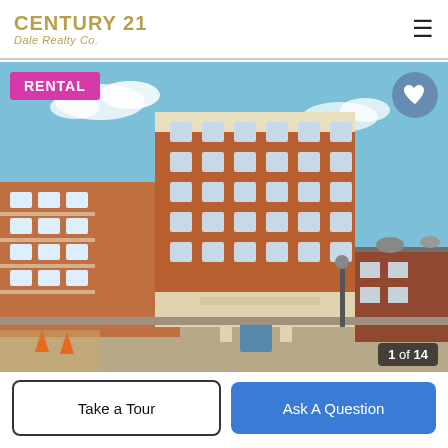CENTURY 21 Dale Realty Co.
[Figure (photo): Exterior photo of a multi-story brick apartment building with balconies under a blue sky. A RENTAL badge appears in the top-left corner of the photo, a heart/favorite icon in the top-right, and a '1 of 14' photo counter in the bottom-right.]
1 of 14
Take a Tour
Ask A Question